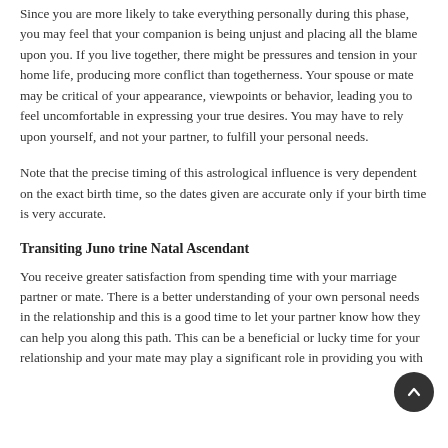Since you are more likely to take everything personally during this phase, you may feel that your companion is being unjust and placing all the blame upon you. If you live together, there might be pressures and tension in your home life, producing more conflict than togetherness. Your spouse or mate may be critical of your appearance, viewpoints or behavior, leading you to feel uncomfortable in expressing your true desires. You may have to rely upon yourself, and not your partner, to fulfill your personal needs.
Note that the precise timing of this astrological influence is very dependent on the exact birth time, so the dates given are accurate only if your birth time is very accurate.
Transiting Juno trine Natal Ascendant
You receive greater satisfaction from spending time with your marriage partner or mate. There is a better understanding of your own personal needs in the relationship and this is a good time to let your partner know how they can help you along this path. This can be a beneficial or lucky time for your relationship and your mate may play a significant role in providing you with